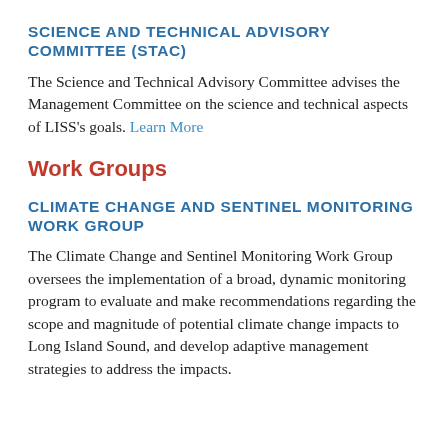SCIENCE AND TECHNICAL ADVISORY COMMITTEE (STAC)
The Science and Technical Advisory Committee advises the Management Committee on the science and technical aspects of LISS's goals. Learn More
Work Groups
CLIMATE CHANGE AND SENTINEL MONITORING WORK GROUP
The Climate Change and Sentinel Monitoring Work Group oversees the implementation of a broad, dynamic monitoring program to evaluate and make recommendations regarding the scope and magnitude of potential climate change impacts to Long Island Sound, and develop adaptive management strategies to address the impacts.